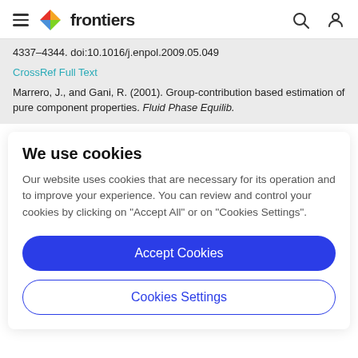frontiers
4337–4344. doi:10.1016/j.enpol.2009.05.049
CrossRef Full Text
Marrero, J., and Gani, R. (2001). Group-contribution based estimation of pure component properties. Fluid Phase Equilib.
We use cookies
Our website uses cookies that are necessary for its operation and to improve your experience. You can review and control your cookies by clicking on "Accept All" or on "Cookies Settings".
Accept Cookies
Cookies Settings